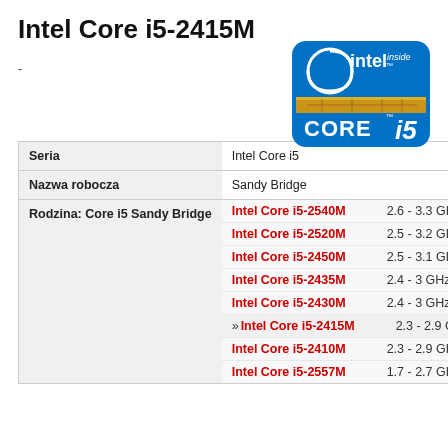Intel Core i5-2415M
-
[Figure (logo): Intel inside Core i5 logo badge — blue rounded square with Intel inside text and CORE i5 branding]
| Property | Value |
| --- | --- |
| Seria | Intel Core i5 |
| Nazwa robocza | Sandy Bridge |
| Rodzina: Core i5 Sandy Bridge | Intel Core i5-2540M  2.6 - 3.3 GHz  2/4  3 MB | Intel Core i5-2520M  2.5 - 3.2 GHz  2/4  3 MB | Intel Core i5-2450M  2.5 - 3.1 GHz  2/4  3 MB | Intel Core i5-2435M  2.4 - 3 GHz  2/4  3 MB | Intel Core i5-2430M  2.4 - 3 GHz  2/4  3 MB | » Intel Core i5-2415M  2.3 - 2.9 GHz  2/4  3 MB | Intel Core i5-2410M  2.3 - 2.9 GHz  2/4  3 MB | Intel Core i5-2557M  1.7 - 2.7 GHz  2/4  3 MB |